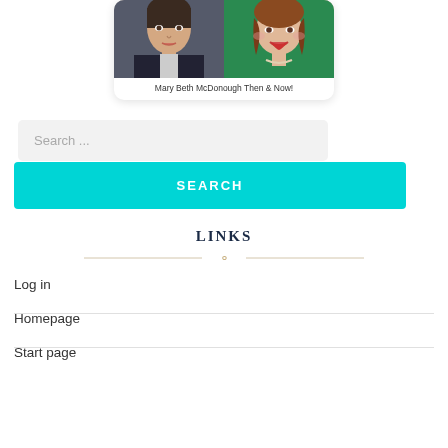[Figure (photo): Two photos side by side: a younger person on the left and an older woman on the right, depicting Mary Beth McDonough then and now]
Mary Beth McDonough Then & Now!
Search ...
SEARCH
LINKS
Log in
Homepage
Start page